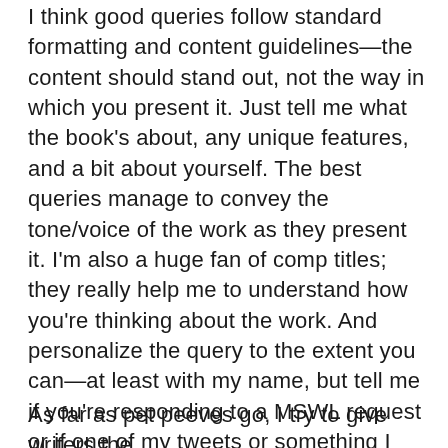I think good queries follow standard formatting and content guidelines—the content should stand out, not the way in which you present it. Just tell me what the book's about, any unique features, and a bit about yourself. The best queries manage to convey the tone/voice of the work as they present it. I'm also a huge fan of comp titles; they really help me to understand how you're thinking about the work. And personalize the query to the extent you can—at least with my name, but tell me if you're responding to a MSWL request or if one of my tweets or something I wrote on the website caught your eye. There are so many resources on the internet now for writing your query and researching agents; writers are really out of excuses in those areas!
As far as pet peeves go, I try to give writers the